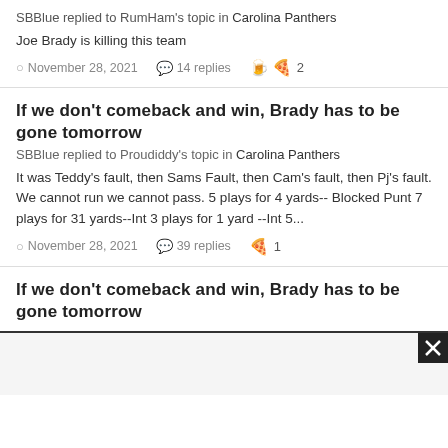SBBlue replied to RumHam's topic in Carolina Panthers
Joe Brady is killing this team
November 28, 2021  14 replies  2
If we don't comeback and win, Brady has to be gone tomorrow
SBBlue replied to Proudiddy's topic in Carolina Panthers
It was Teddy's fault, then Sams Fault, then Cam's fault, then Pj's fault. We cannot run we cannot pass. 5 plays for 4 yards-- Blocked Punt 7 plays for 31 yards--Int 3 plays for 1 yard --Int 5...
November 28, 2021  39 replies  1
If we don't comeback and win, Brady has to be gone tomorrow